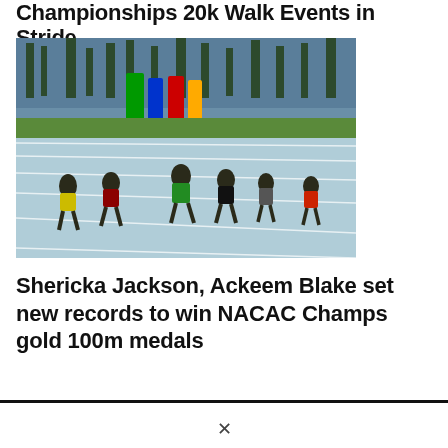Championships 20k Walk Events in Stride
[Figure (photo): Female athletes sprinting on a blue track during a NACAC Championships race, with colorful sponsor banners and palm trees visible in the background.]
Shericka Jackson, Ackeem Blake set new records to win NACAC Champs gold 100m medals